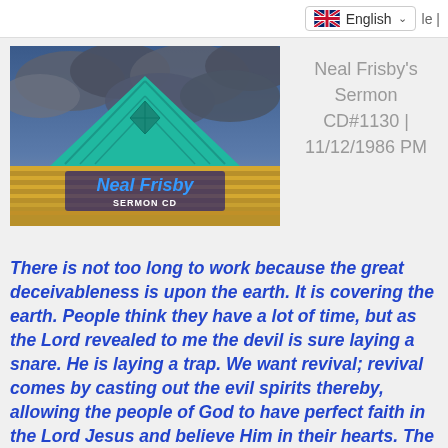English | le |
[Figure (photo): Photo of a pyramid-shaped building with a teal/green triangular top against dramatic storm clouds. Text overlay reads 'Neal Frisby SERMON CD' in blue and white.]
Neal Frisby's Sermon CD#1130 | 11/12/1986 PM
There is not too long to work because the great deceivableness is upon the earth. It is covering the earth. People think they have a lot of time, but as the Lord revealed to me the devil is sure laying a snare. He is laying a trap. We want revival; revival comes by casting out the evil spirits thereby, allowing the people of God to have perfect faith in the Lord Jesus and believe Him in their hearts. The saints of God should believe this message. They should have nothing to fear. They should believe the message. It is